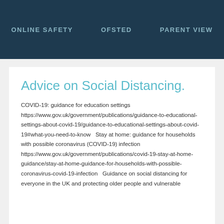ONLINE SAFETY   OFSTED   PARENT VIEW
Advice on Social Distancing.
COVID-19: guidance for education settings https://www.gov.uk/government/publications/guidance-to-educational-settings-about-covid-19/guidance-to-educational-settings-about-covid-19#what-you-need-to-know   Stay at home: guidance for households with possible coronavirus (COVID-19) infection https://www.gov.uk/government/publications/covid-19-stay-at-home-guidance/stay-at-home-guidance-for-households-with-possible-coronavirus-covid-19-infection   Guidance on social distancing for everyone in the UK and protecting older people and vulnerable